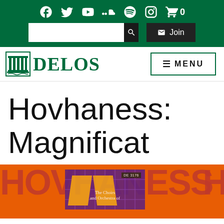Social media icons: Facebook, Twitter, YouTube, SoundCloud, Spotify, Instagram, Cart (0)
Search box and Join button
[Figure (logo): Delos Records logo with building icon and text DELOS in green]
MENU navigation button
Hovhaness: Magnificat
[Figure (photo): Album cover for Hovhaness Magnificat on Delos label, orange background with large HOVHANESS text, showing The Choirs and Orchestra of..., catalog number DE 3176]